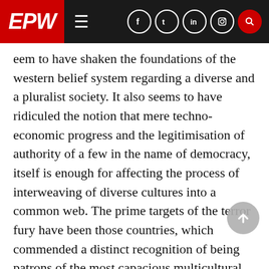EPW
eem to have shaken the foundations of the western belief system regarding a diverse and a pluralist society. It also seems to have ridiculed the notion that mere techno-economic progress and the legitimisation of authority of a few in the name of democracy, itself is enough for affecting the process of interweaving of diverse cultures into a common web. The prime targets of the terror fury have been those countries, which commended a distinct recognition of being patrons of the most capacious multicultural societies. Visualising this from the prism of British experience, it may be argued that 7 July 2005 important a day as any other, that British collective memory could easily be oblivious of. The